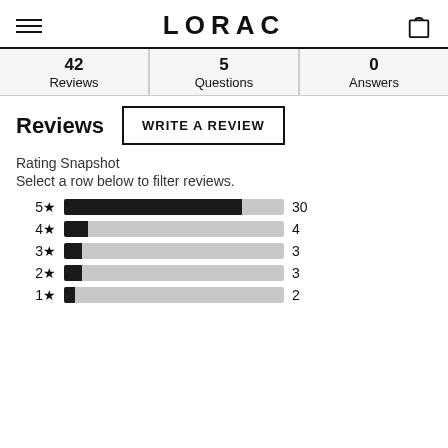LORAC
| 42 Reviews | 5 Questions | 0 Answers |
| --- | --- | --- |
Reviews
WRITE A REVIEW
Rating Snapshot
Select a row below to filter reviews.
[Figure (bar-chart): Rating Snapshot]